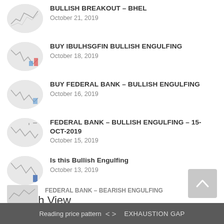BULLISH BREAKOUT – BHEL
October 21, 2019
BUY IBULHSGFIN BULLISH ENGULFING
October 18, 2019
BUY FEDERAL BANK – BULLISH ENGULFING
October 16, 2019
FEDERAL BANK – BULLISH ENGULFING – 15-OCT-2019
October 15, 2019
Is this Bullish Engulfing
October 13, 2019
Bearish View
Bearish-GAP-SHORT-BICON-25-10-2019
October 25, 2019
Reading price pattern  < >  EXHAUSTION GAP